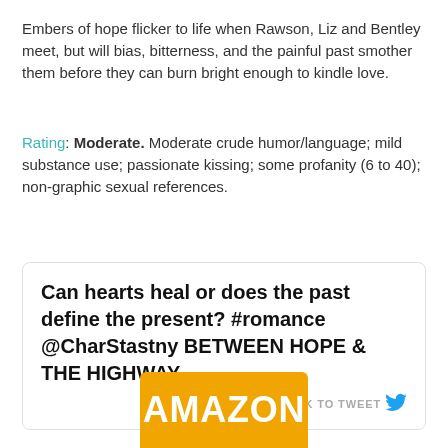Embers of hope flicker to life when Rawson, Liz and Bentley meet, but will bias, bitterness, and the painful past smother them before they can burn bright enough to kindle love.
Rating: Moderate. Moderate crude humor/language; mild substance use; passionate kissing; some profanity (6 to 40); non-graphic sexual references.
[Figure (screenshot): Tweet box with bold text: 'Can hearts heal or does the past define the present? #romance @CharStastny BETWEEN HOPE & THE HIGHWAY' and a 'CLICK TO TWEET' link with Twitter bird icon]
[Figure (logo): Amazon button - orange/gold rounded rectangle with white bold AMAZON text]